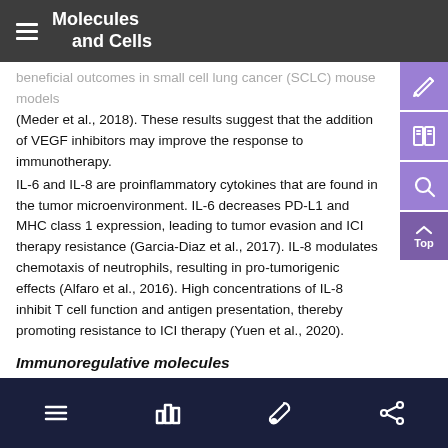Molecules and Cells
beneficial outcomes in small cell lung cancer (SCLC) mouse models (Meder et al., 2018). These results suggest that the addition of VEGF inhibitors may improve the response to immunotherapy.
IL-6 and IL-8 are proinflammatory cytokines that are found in the tumor microenvironment. IL-6 decreases PD-L1 and MHC class 1 expression, leading to tumor evasion and ICI therapy resistance (Garcia-Diaz et al., 2017). IL-8 modulates chemotaxis of neutrophils, resulting in pro-tumorigenic effects (Alfaro et al., 2016). High concentrations of IL-8 inhibit T cell function and antigen presentation, thereby promoting resistance to ICI therapy (Yuen et al., 2020).
Immunoregulative molecules
Immunoregulatory molecules such as adenosine, indoleamine 2,3-dioxygenase 1 (IDO1), and B7-H4 contribute to immunosuppression, which is associated with ICI resistance (Table 1) (Platten et al., 2015; Z
navigation footer